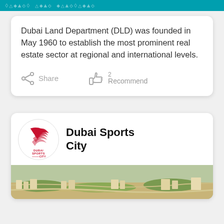[Figure (other): Teal/cyan decorative banner with circuit-board pattern text at top of page]
Dubai Land Department (DLD) was founded in May 1960 to establish the most prominent real estate sector at regional and international levels.
Share
2 Recommend
[Figure (logo): Dubai Sports City logo — red and white circular emblem with stylized wing/fin motif and 'DUBAI SPORTS CITY' text beneath]
Dubai Sports City
[Figure (photo): Aerial photograph of Dubai Sports City development showing curved roads, residential buildings, and green spaces]